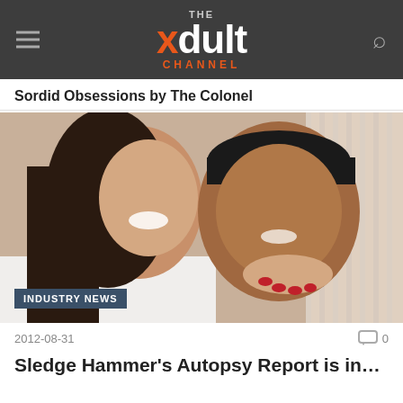THE xdult CHANNEL
Sordid Obsessions by The Colonel
[Figure (photo): A smiling couple posed together; a woman with long dark hair leans against a man wearing a backwards black cap. The man is shirtless and the woman has her arms around him. An 'INDUSTRY NEWS' badge appears in the lower left corner of the image.]
2012-08-31
Sledge Hammer's Autopsy Report is in…